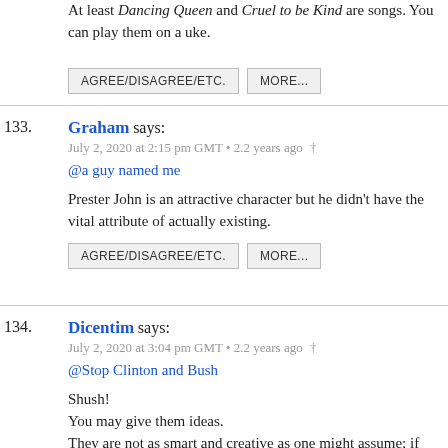At least Dancing Queen and Cruel to be Kind are songs. You can play them on a uke.
AGREE/DISAGREE/ETC.  MORE...
133. Graham says: July 2, 2020 at 2:15 pm GMT • 2.2 years ago †
@a guy named me
Prester John is an attractive character but he didn't have the vital attribute of actually existing.
AGREE/DISAGREE/ETC.  MORE...
134. Dicentim says: July 2, 2020 at 3:04 pm GMT • 2.2 years ago †
@Stop Clinton and Bush
Shush!
You may give them ideas.
They are not as smart and creative as one might assume; if they were, they wouldn't have chosen that path.